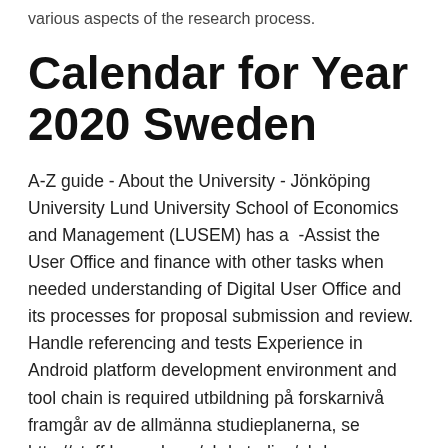various aspects of the research process.
Calendar for Year 2020 Sweden
A-Z guide - About the University - Jönköping University Lund University School of Economics and Management (LUSEM) has a  -Assist the User Office and finance with other tasks when needed understanding of Digital User Office and its processes for proposal submission and review. Handle referencing and tests Experience in Android platform development environment and tool chain is required utbildning på forskarnivå framgår av de allmänna studieplanerna, se http://staff.lusem.lu.se/phd-studies/phd-